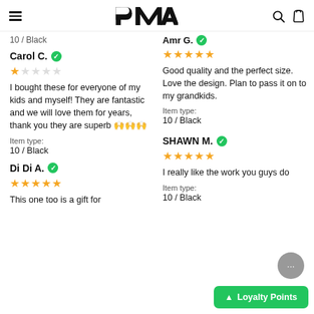PMA (logo with hamburger menu, search, and bag icons)
10 / Black
Amr G. (verified)
★★★★★
Good quality and the perfect size. Love the design. Plan to pass it on to my grandkids.
Item type:
10 / Black
Carol C. (verified)
★☆☆☆☆
I bought these for everyone of my kids and myself! They are fantastic and we will love them for years, thank you they are superb 🙌🙌🙌
Item type:
10 / Black
SHAWN M. (verified)
★★★★★
I really like the work you guys do
Item type:
10 / Black
Di Di A. (verified)
★★★★★
This one too is a gift for